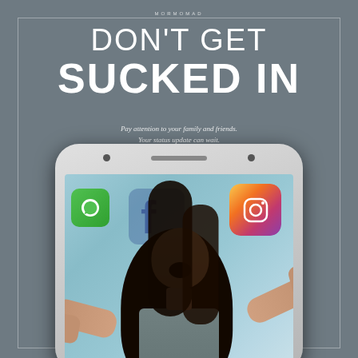MORMOMAD
DON'T GET SUCKED IN
Pay attention to your family and friends. Your status update can wait.
[Figure (photo): A young girl appearing to be sucked into a large smartphone screen, surrounded by social media app icons (Facebook, Instagram, WhatsApp). The phone is shown as a white Samsung-style device. The girl has long dark hair, arms outstretched with an expression of shock or excitement, emerging from the phone screen.]